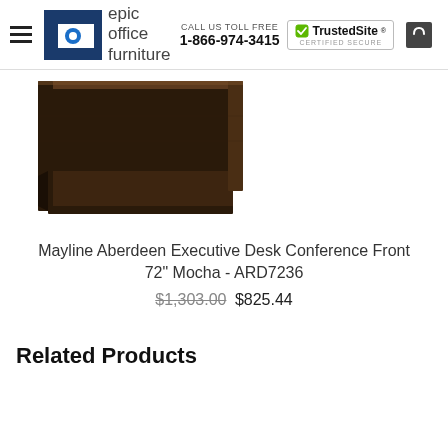epic office furniture | CALL US TOLL FREE 1-866-974-3415 | TrustedSite CERTIFIED SECURE
[Figure (photo): Photo of a Mayline Aberdeen Executive Desk Conference Front 72" in Mocha finish, showing a dark brown wood desk with conference front panel.]
Mayline Aberdeen Executive Desk Conference Front 72" Mocha - ARD7236
$1,303.00 $825.44
Related Products